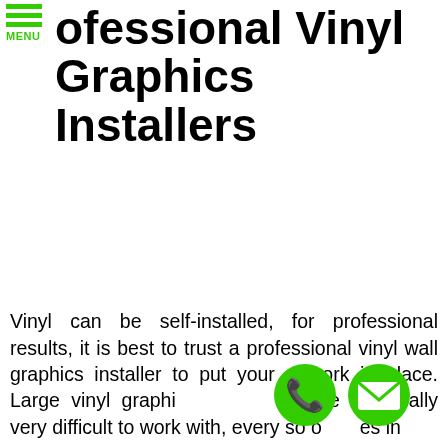MENU
Professional Vinyl Graphics Installers
Vinyl can be self-installed, for professional results, it is best to trust a professional vinyl wall graphics installer to put your artwork in place. Large vinyl graphics are generally very difficult to work with, every so often in